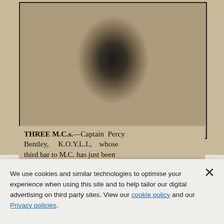[Figure (photo): Newspaper photograph showing a person (military officer), halftone printed, cropped at chest level, within a black border frame. This is a historical newspaper clipping.]
THREE M.C.s.—Captain Percy Bentley, K.O.Y.L.I., whose third bar to M.C. has just been
We use cookies and similar technologies to optimise your experience when using this site and to help tailor our digital advertising on third party sites. View our cookie policy and our Privacy policies.